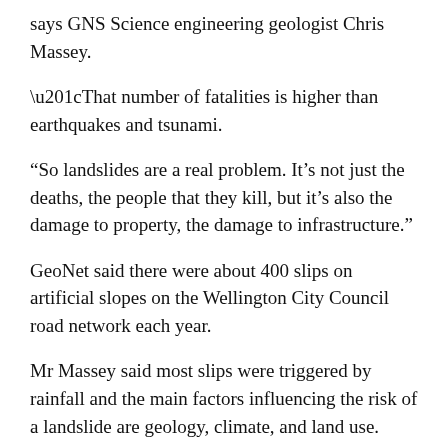says GNS Science engineering geologist Chris Massey.
“That number of fatalities is higher than earthquakes and tsunami.
“So landslides are a real problem. It’s not just the deaths, the people that they kill, but it’s also the damage to property, the damage to infrastructure.”
GeoNet said there were about 400 slips on artificial slopes on the Wellington City Council road network each year.
Mr Massey said most slips were triggered by rainfall and the main factors influencing the risk of a landslide are geology, climate, and land use.
“The thing is, though, not many people live on slopes…